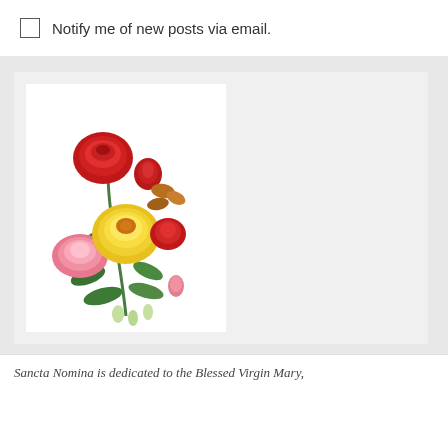Notify me of new posts via email.
[Figure (illustration): Vintage botanical illustration of red, pink, and yellow roses with green leaves on a white background.]
Sancta Nomina is dedicated to the Blessed Virgin Mary,